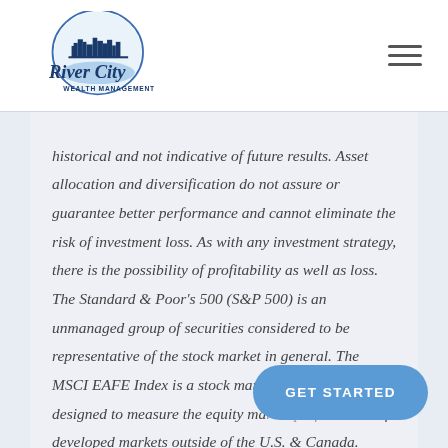[Figure (logo): River City Wealth Management logo with circular city skyline graphic and script/sans-serif text]
historical and not indicative of future results. Asset allocation and diversification do not assure or guarantee better performance and cannot eliminate the risk of investment loss. As with any investment strategy, there is the possibility of profitability as well as loss. The Standard & Poor's 500 (S&P 500) is an unmanaged group of securities considered to be representative of the stock market in general. The MSCI EAFE Index is a stock market index that is designed to measure the equity ma[rket performance] of developed markets outside of the U.S. & Canada.